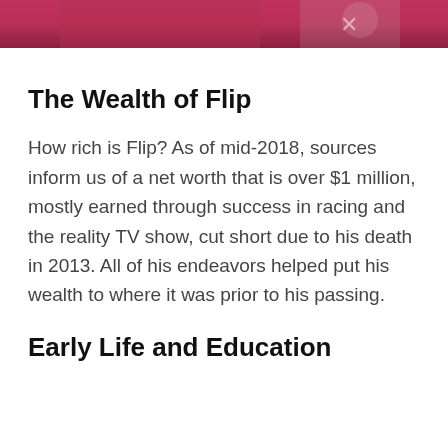[Figure (photo): Partial photo at top of page showing what appears to be a person wearing a pink/red garment, cropped to a narrow strip]
The Wealth of Flip
How rich is Flip? As of mid-2018, sources inform us of a net worth that is over $1 million, mostly earned through success in racing and the reality TV show, cut short due to his death in 2013. All of his endeavors helped put his wealth to where it was prior to his passing.
Early Life and Education